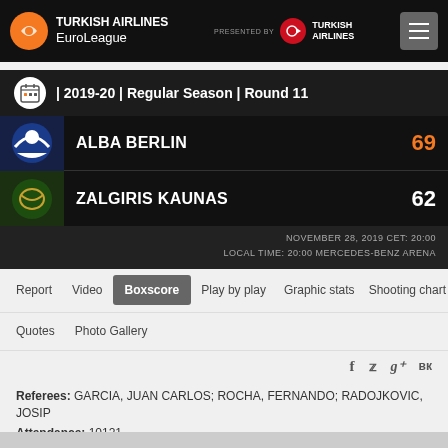TURKISH AIRLINES EuroLeague — PRESENTED BY TURKISH AIRLINES
2019-20 | Regular Season | Round 11
ALBA BERLIN 69
ZALGIRIS KAUNAS 62
NOVEMBER 28, 2019 CET: 20:00
LOCAL TIME: 20:00 MERCEDES-BENZ ARENA
Report  Video  Boxscore  Play by play  Graphic stats  Shooting chart
Quotes  Photo Gallery
Referees: GARCIA, JUAN CARLOS; ROCHA, FERNANDO; RADOJKOVIC, JOSIP
Attendance: 10121